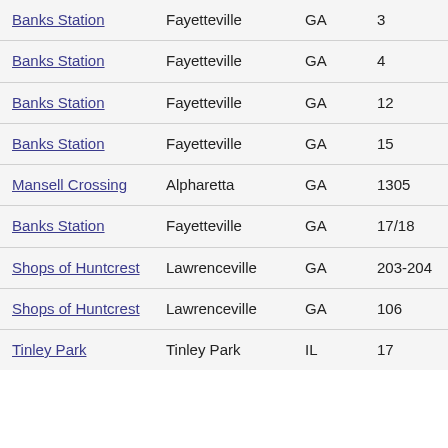| Banks Station | Fayetteville | GA | 3 | 2,110 |
| Banks Station | Fayetteville | GA | 4 | 3,200 |
| Banks Station | Fayetteville | GA | 12 | 1,708 |
| Banks Station | Fayetteville | GA | 15 | 1,320 |
| Mansell Crossing | Alpharetta | GA | 1305 | 2,219 |
| Banks Station | Fayetteville | GA | 17/18 | 4,420 |
| Shops of Huntcrest | Lawrenceville | GA | 203-204 | 4,000 |
| Shops of Huntcrest | Lawrenceville | GA | 106 | 3,600 |
| Tinley Park | Tinley Park | IL | 17 | 1,303 |